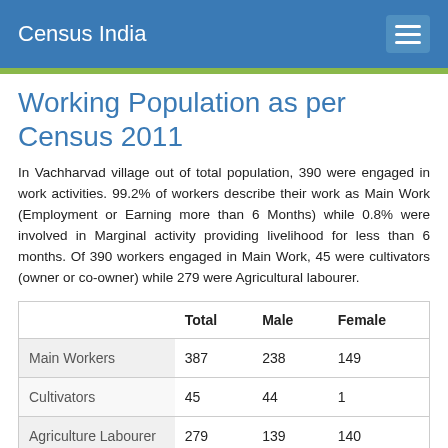Census India
Working Population as per Census 2011
In Vachharvad village out of total population, 390 were engaged in work activities. 99.2% of workers describe their work as Main Work (Employment or Earning more than 6 Months) while 0.8% were involved in Marginal activity providing livelihood for less than 6 months. Of 390 workers engaged in Main Work, 45 were cultivators (owner or co-owner) while 279 were Agricultural labourer.
|  | Total | Male | Female |
| --- | --- | --- | --- |
| Main Workers | 387 | 238 | 149 |
| Cultivators | 45 | 44 | 1 |
| Agriculture Labourer | 279 | 139 | 140 |
| Other Workers | 63 | 55 | 8 |